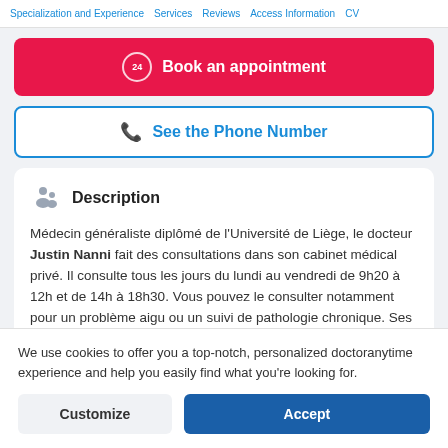Specialization and Experience | Services | Reviews | Access Information | CV
Book an appointment
See the Phone Number
Description
Médecin généraliste diplômé de l'Université de Liège, le docteur Justin Nanni fait des consultations dans son cabinet médical privé. Il consulte tous les jours du lundi au vendredi de 9h20 à 12h et de 14h à 18h30. Vous pouvez le consulter notamment pour un problème aigu ou un suivi de pathologie chronique. Ses
We use cookies to offer you a top-notch, personalized doctoranytime experience and help you easily find what you're looking for.
Customize
Accept